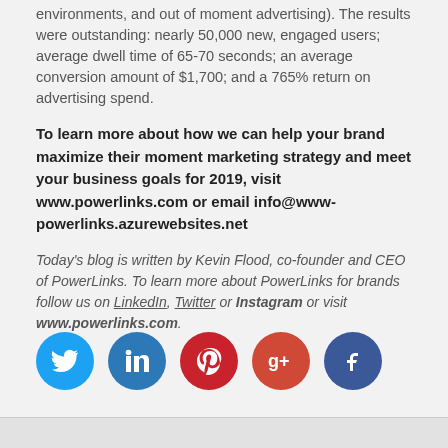environments, and out of moment advertising). The results were outstanding: nearly 50,000 new, engaged users; average dwell time of 65-70 seconds; an average conversion amount of $1,700; and a 765% return on advertising spend.
To learn more about how we can help your brand maximize their moment marketing strategy and meet your business goals for 2019, visit www.powerlinks.com or email info@www-powerlinks.azurewebsites.net
Today's blog is written by Kevin Flood, co-founder and CEO of PowerLinks. To learn more about PowerLinks for brands follow us on LinkedIn, Twitter or Instagram or visit www.powerlinks.com.
[Figure (infographic): Row of five social media icon circles: Twitter (light blue), LinkedIn (blue), Pinterest (red), Google+ (orange-red), Facebook (dark blue)]